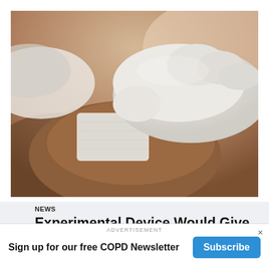[Figure (photo): Close-up photo of gloved hands inserting an IV catheter into a patient's hand, with medical tape securing the site.]
NEWS
Experimental Device Would Give Oxygen by IV
ADVERTISEMENT
Sign up for our free COPD Newsletter
Subscribe